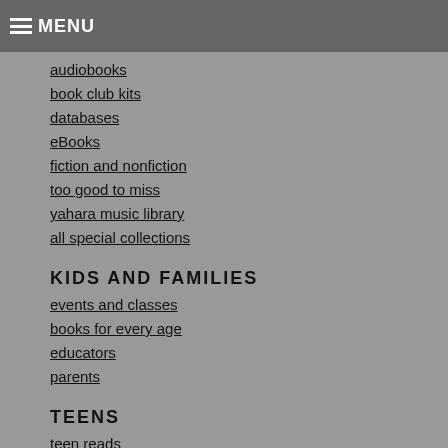MENU
audiobooks
book club kits
databases
eBooks
fiction and nonfiction
too good to miss
yahara music library
all special collections
KIDS AND FAMILIES
events and classes
books for every age
educators
parents
TEENS
teen reads
events and classes
great books
CONTACT US
library card questions
research questions
library management
problem with this page?